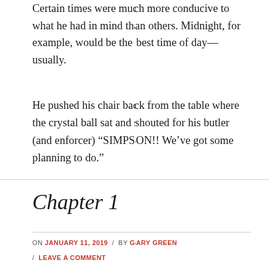Certain times were much more conducive to what he had in mind than others. Midnight, for example, would be the best time of day—usually.
He pushed his chair back from the table where the crystal ball sat and shouted for his butler (and enforcer) “SIMPSON!! We’ve got some planning to do.”
Chapter 1
ON JANUARY 11, 2019 / BY GARY GREEN / LEAVE A COMMENT